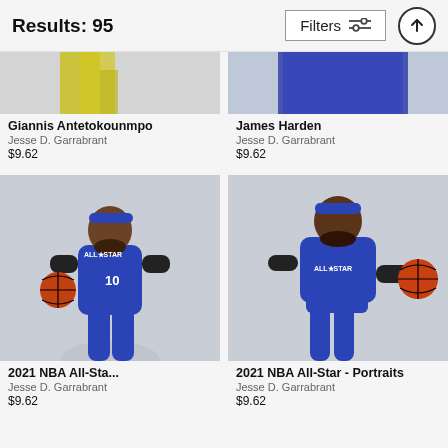Results: 95  Filters  ↑
[Figure (photo): Partial photo of Giannis Antetokounmpo, showing yellow bands/uniform on grey background]
Giannis Antetokounmpo
Jesse D. Garrabrant
$9.62
[Figure (photo): Partial photo of James Harden, showing blue shorts on grey background]
James Harden
Jesse D. Garrabrant
$9.62
[Figure (photo): 2021 NBA All-Star portrait photo of basketball player wearing blue All-Star jersey #10, holding basketball]
2021 NBA All-Sta...
Jesse D. Garrabrant
$9.62
[Figure (photo): 2021 NBA All-Star portrait photo of basketball player wearing blue All-Star jersey, reaching out holding basketball]
2021 NBA All-Star - Portraits
Jesse D. Garrabrant
$9.62